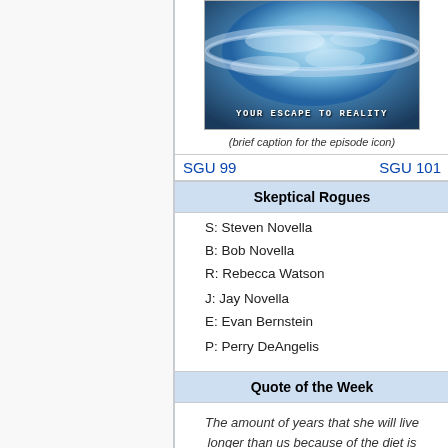[Figure (photo): Episode icon image with text 'Your Escape to Reality' over a space/planetary scene]
(brief caption for the episode icon)
SGU 99   SGU 101
Skeptical Rogues
S: Steven Novella
B: Bob Novella
R: Rebecca Watson
J: Jay Novella
E: Evan Bernstein
P: Perry DeAngelis
Quote of the Week
The amount of years that she will live longer than us because of the diet is directly proportional to the horror of her life.
Perry DeAngelis